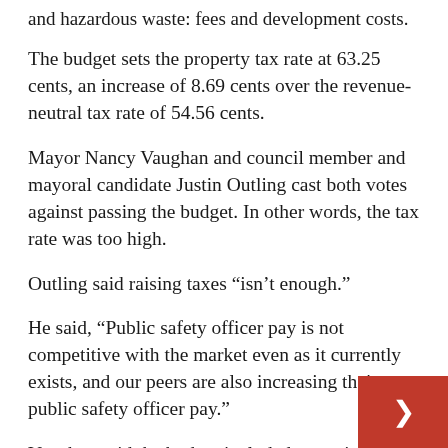and hazardous waste: fees and development costs.
The budget sets the property tax rate at 63.25 cents, an increase of 8.69 cents over the revenue-neutral tax rate of 54.56 cents.
Mayor Nancy Vaughan and council member and mayoral candidate Justin Outling cast both votes against passing the budget. In other words, the tax rate was too high.
Outling said raising taxes “isn’t enough.”
He said, “Public safety officer pay is not competitive with the market even as it currently exists, and our peers are also increasing their public safety officer pay.”
Vaughan said the budget included many items she supported, such as increases for city employees,